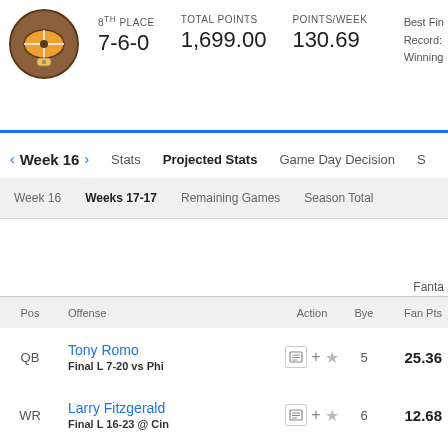[Figure (logo): Fantasy football team logo — compass/football icon in brown and orange]
8TH PLACE   7-6-0
TOTAL POINTS   1,699.00
POINTS/WEEK   130.69
Best Fin
Record:
Winning
< Week 16 >   Stats   Projected Stats   Game Day Decision   S
Week 16   Weeks 17-17   Remaining Games   Season Total
Fanta
| Pos | Offense | Action | Bye | Fan Pts |
| --- | --- | --- | --- | --- |
| QB | Tony Romo
Final L 7-20 vs Phi | +☆ | 5 | 25.36 |
| WR | Larry Fitzgerald
Final L 16-23 @ Cin | +☆ | 6 | 12.68 |
| WR | Victor Cruz
Final L 21-35 @ GB | +☆ | 8 | 15.00 |
| WR | Mike Williams
Final L 13-16 vs LV | +☆ | 6 | 12.30 |